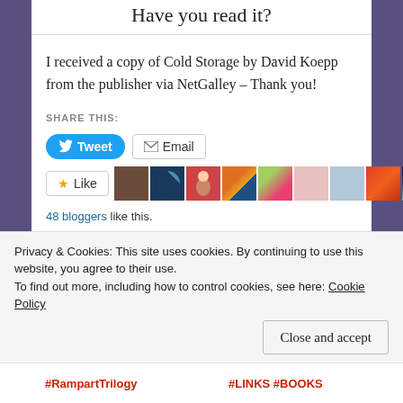Have you read it?
I received a copy of Cold Storage by David Koepp from the publisher via NetGalley – Thank you!
SHARE THIS:
[Figure (screenshot): Tweet and Email share buttons, then Like button with row of blogger avatar thumbnails]
48 bloggers like this.
RELATED
[Figure (photo): Two related post thumbnail images — a book cover (BOOK text visible) and a gift/books image]
Privacy & Cookies: This site uses cookies. By continuing to use this website, you agree to their use.
To find out more, including how to control cookies, see here: Cookie Policy
[Figure (screenshot): Close and accept button for cookie banner]
#RampartTrilogy
#LINKS #BOOKS